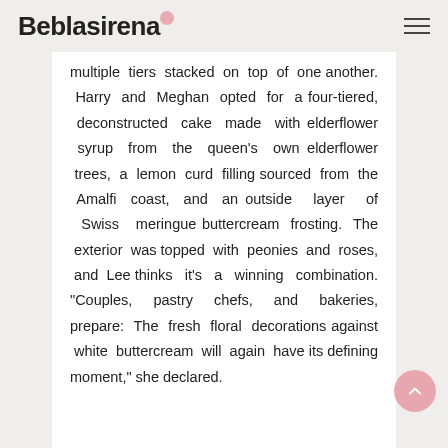Beblasirena
multiple tiers stacked on top of one another. Harry and Meghan opted for a four-tiered, deconstructed cake made with elderflower syrup from the queen's own elderflower trees, a lemon curd filling sourced from the Amalfi coast, and an outside layer of Swiss meringue buttercream frosting. The exterior was topped with peonies and roses, and Lee thinks it's a winning combination. "Couples, pastry chefs, and bakeries, prepare: The fresh floral decorations against white buttercream will again have its defining moment," she declared.